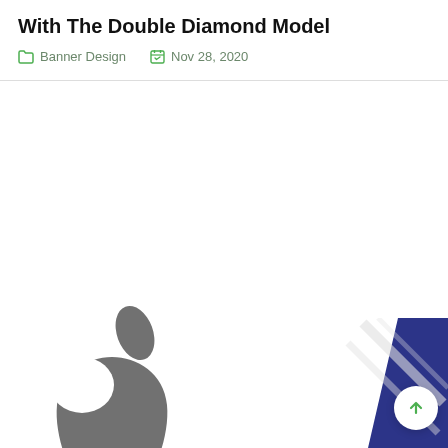With The Double Diamond Model
Banner Design   Nov 28, 2020
[Figure (logo): Apple logo in dark gray]
[Figure (logo): Partial logo with blue diagonal stripes in bottom right corner, with green upward arrow scroll button]